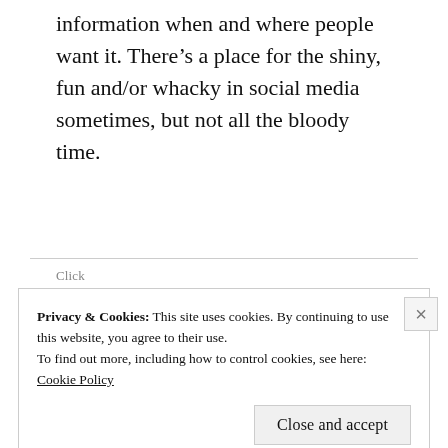information when and where people want it. There’s a place for the shiny, fun and/or whacky in social media sometimes, but not all the bloody time.
Privacy & Cookies: This site uses cookies. By continuing to use this website, you agree to their use.
To find out more, including how to control cookies, see here:
Cookie Policy
Close and accept